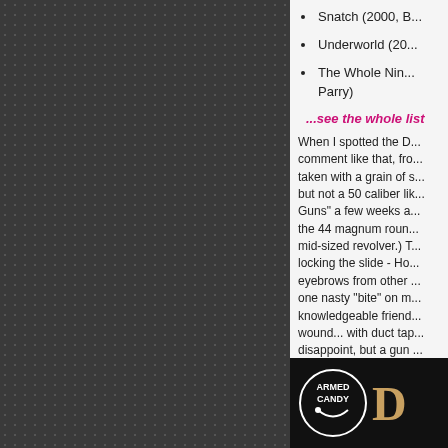Snatch (2000, B...
Underworld (20...
The Whole Nin... Parry)
...see the whole list
When I spotted the D... comment like that, fro... taken with a grain of s... but not a 50 caliber lik... Guns" a few weeks a... the 44 magnum roun... mid-sized revolver.) T... locking the slide - Ho... eyebrows from other ... one nasty "bite" on m... knowledgeable friend... wound... with duct tap... disappoint, but a gun ...
[Figure (logo): Armed Candy logo circle with text and large letter D]